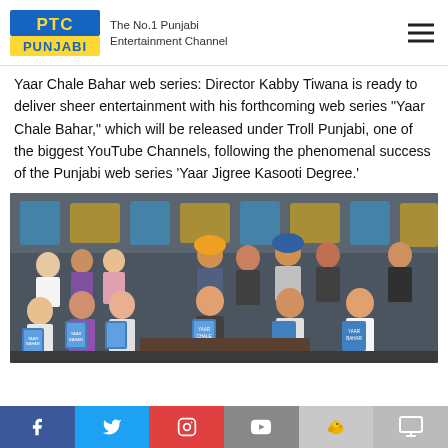PTC PUNJABI — The No.1 Punjabi Entertainment Channel
Yaar Chale Bahar web series: Director Kabby Tiwana is ready to deliver sheer entertainment with his forthcoming web series "Yaar Chale Bahar," which will be released under Troll Punjabi, one of the biggest YouTube Channels, following the phenomenal success of the Punjabi web series 'Yaar Jigree Kasooti Degree.'
[Figure (photo): Group photo of cast and crew holding Yaar Chale Bahar posters at a press event with branded backdrop]
Social media icons: Facebook, Twitter, Instagram, YouTube, Koo, TV